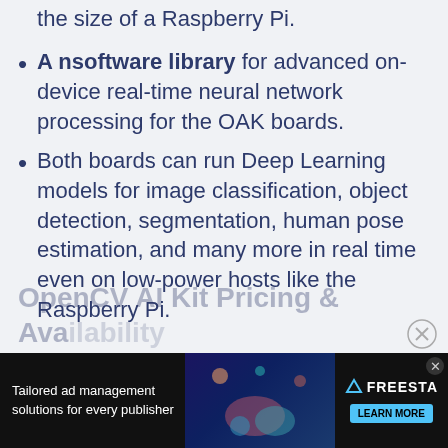the size of a Raspberry Pi.
A nsoftware library for advanced on-device real-time neural network processing for the OAK boards.
Both boards can run Deep Learning models for image classification, object detection, segmentation, human pose estimation, and many more in real time even on low-power hosts like the Raspberry Pi.
OpenCV AI Kit Pricing & Availability
[Figure (other): Advertisement banner: Tailored ad management solutions for every publisher. Freesta logo with Learn More button on dark background with illustrated figure.]